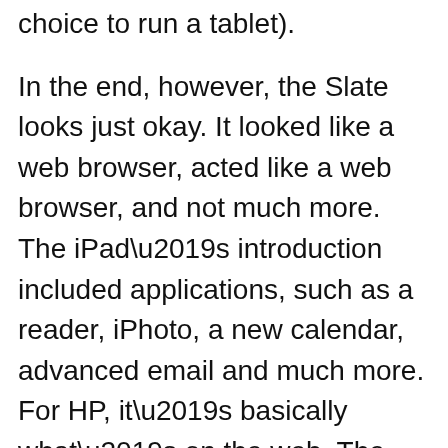choice to run a tablet).
In the end, however, the Slate looks just okay. It looked like a web browser, acted like a web browser, and not much more. The iPad’s introduction included applications, such as a reader, iPhoto, a new calendar, advanced email and much more. For HP, it’s basically what’s on the web. The iPad offered a suite of functionality outside of the browser – not to mention an far better looking keyboard.
For now, we are still excited about the upcoming iPad. The HP Slate – meh, it’s a web browser – so far. We’ll wait and see.